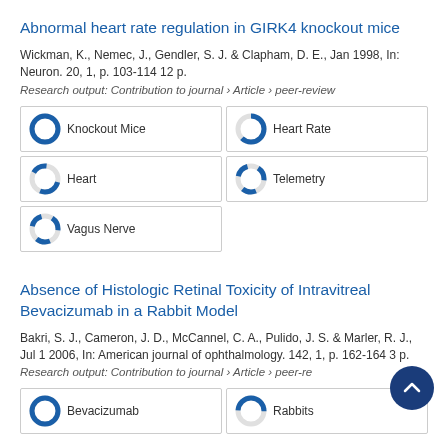Abnormal heart rate regulation in GIRK4 knockout mice
Wickman, K., Nemec, J., Gendler, S. J. & Clapham, D. E., Jan 1998, In: Neuron. 20, 1, p. 103-114 12 p.
Research output: Contribution to journal › Article › peer-review
Knockout Mice
Heart Rate
Heart
Telemetry
Vagus Nerve
Absence of Histologic Retinal Toxicity of Intravitreal Bevacizumab in a Rabbit Model
Bakri, S. J., Cameron, J. D., McCannel, C. A., Pulido, J. S. & Marler, R. J., Jul 1 2006, In: American journal of ophthalmology. 142, 1, p. 162-164 3 p.
Research output: Contribution to journal › Article › peer-review
Bevacizumab
Rabbits